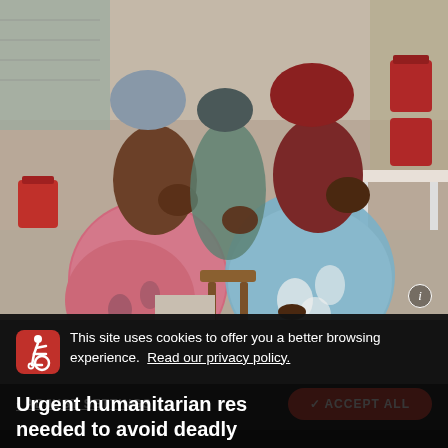[Figure (photo): Several women in colorful traditional clothing (pink floral, blue floral) sitting outdoors and holding infants/young children. The setting appears to be a humanitarian aid clinic or shelter with a concrete floor, metal sheeting walls, and red plastic buckets visible in the background.]
This site uses cookies to offer you a better browsing experience. Read our privacy policy.
ADJUST SETTINGS
✓ ACCEPT ALL
Urgent humanitarian res needed to avoid deadly